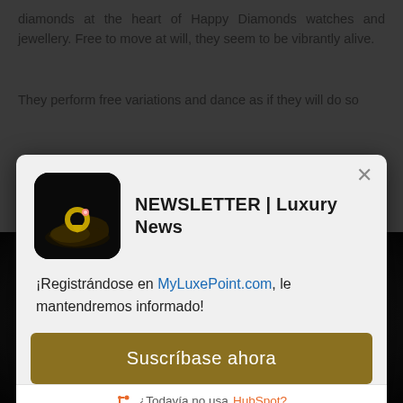diamonds at the heart of Happy Diamonds watches and jewellery. Free to move at will, they seem to be vibrantly alive.
They perform free variations and dance as if they will do so
[Figure (screenshot): Newsletter popup modal for NEWSLETTER | Luxury News from MyLuxePoint.com with subscription button 'Suscríbase ahora' and HubSpot link]
[Figure (screenshot): Video thumbnail showing YouTube play button and partial face of a woman smiling, dark background]